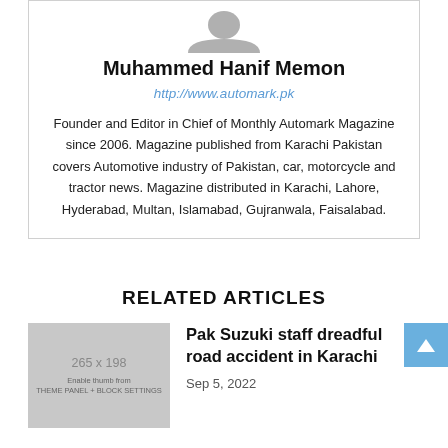[Figure (illustration): Gray placeholder avatar/profile silhouette image at top of author card]
Muhammed Hanif Memon
http://www.automark.pk
Founder and Editor in Chief of Monthly Automark Magazine since 2006. Magazine published from Karachi Pakistan covers Automotive industry of Pakistan, car, motorcycle and tractor news. Magazine distributed in Karachi, Lahore, Hyderabad, Multan, Islamabad, Gujranwala, Faisalabad.
RELATED ARTICLES
[Figure (photo): Thumbnail placeholder image sized 265x198 with text 'Enable thumb from THEME PANEL + BLOCK SETTINGS']
Pak Suzuki staff dreadful road accident in Karachi
Sep 5, 2022